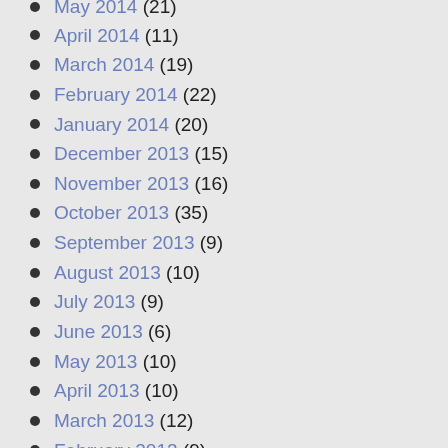May 2014 (21)
April 2014 (11)
March 2014 (19)
February 2014 (22)
January 2014 (20)
December 2013 (15)
November 2013 (16)
October 2013 (35)
September 2013 (9)
August 2013 (10)
July 2013 (9)
June 2013 (6)
May 2013 (10)
April 2013 (10)
March 2013 (12)
February 2013 (9)
January 2013 (6)
December 2012 (14)
November 2012 (9)
October 2012 (21)
September 2012 (18)